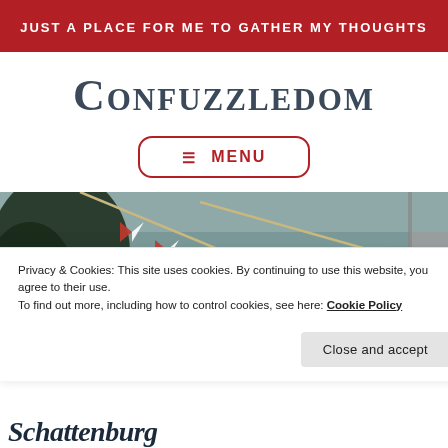JUST A PLACE FOR ME TO GATHER MY THOUGHTS
CONFUZZLEDOM
☰ MENU
[Figure (photo): Outdoor waterside scene with colourful red-and-white pennant flags strung on ropes, water in the background, foliage on the left, and what appears to be a boat or dock structure on the right.]
Privacy & Cookies: This site uses cookies. By continuing to use this website, you agree to their use.
To find out more, including how to control cookies, see here: Cookie Policy
Close and accept
Schattenburg